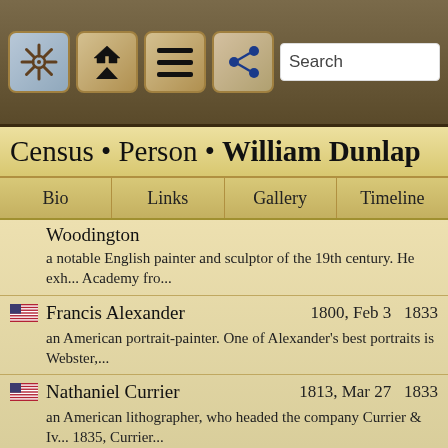[Figure (screenshot): App toolbar with navigation icons: ship wheel, home/up arrows, hamburger menu, share button, and search bar]
Census • Person • William Dunlap
Bio | Links | Gallery | Timeline
Woodington
a notable English painter and sculptor of the 19th century. He exh... Academy fro...
Francis Alexander   1800, Feb 3   1833
an American portrait-painter. One of Alexander's best portraits is Webster,...
Nathaniel Currier   1813, Mar 27   1833
an American lithographer, who headed the company Currier & Iv... 1835, Currier...
Alvan Clark   1804, Mar 8   1830
an American astronomer and telescope maker. He was a portrait p... (c.1830s-1850s...
Friedrich von Amerling   1803, Apr 14   1828